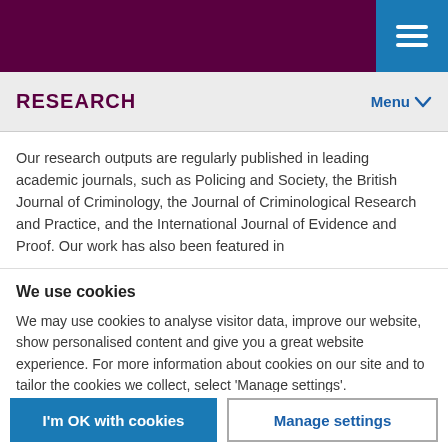RESEARCH  Menu
Our research outputs are regularly published in leading academic journals, such as Policing and Society, the British Journal of Criminology, the Journal of Criminological Research and Practice, and the International Journal of Evidence and Proof. Our work has also been featured in
We use cookies
We may use cookies to analyse visitor data, improve our website, show personalised content and give you a great website experience. For more information about cookies on our site and to tailor the cookies we collect, select 'Manage settings'.
I'm OK with cookies
Manage settings